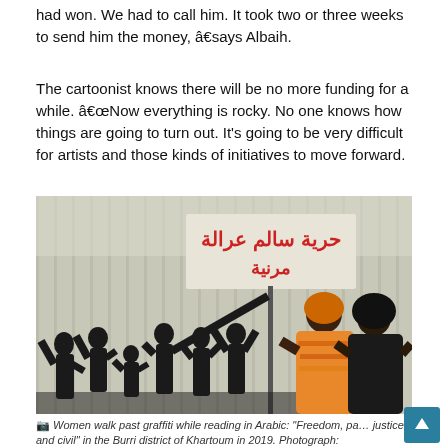had won. We had to call him. It took two or three weeks to send him the money, â€says Albaih.
The cartoonist knows there will be no more funding for a while. â€œNow everything is rocky. No one knows how things are going to turn out. It's going to be very difficult for artists and those kinds of initiatives to move forward.
[Figure (photo): Women walk past a corrugated metal wall with graffiti in Arabic reading 'Freedom, peace, justice and civil' with black silhouettes of people raising their hands and holding a sign. Two women in colorful clothing stand on the right side.]
Women walk past graffiti while reading in Arabic: "Freedom, pa… justice and civil" in the Burri district of Khartoum in 2019. Photograph: